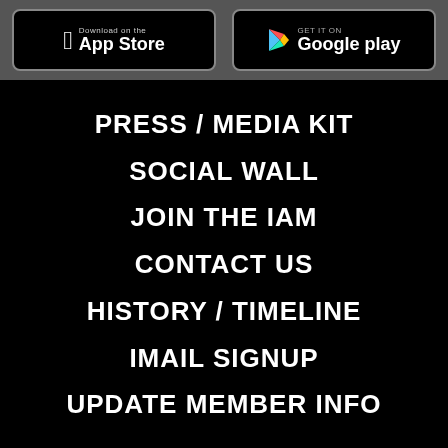[Figure (screenshot): App Store and Google Play download badges on a dark gray background]
PRESS / MEDIA KIT
SOCIAL WALL
JOIN THE IAM
CONTACT US
HISTORY / TIMELINE
IMAIL SIGNUP
UPDATE MEMBER INFO